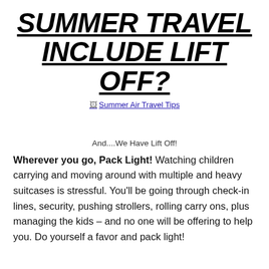SUMMER TRAVEL INCLUDE LIFT OFF?
[Figure (photo): Summer Air Travel Tips image placeholder with link text]
And....We Have Lift Off!
Wherever you go, Pack Light! Watching children carrying and moving around with multiple and heavy suitcases is stressful. You'll be going through check-in lines, security, pushing strollers, rolling carry ons, plus managing the kids – and no one will be offering to help you. Do yourself a favor and pack light!